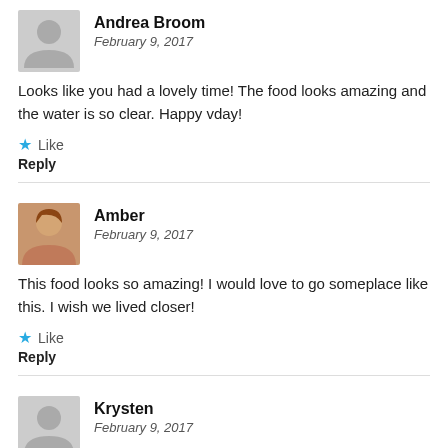Andrea Broom
February 9, 2017
Looks like you had a lovely time! The food looks amazing and the water is so clear. Happy vday!
Like
Reply
Amber
February 9, 2017
This food looks so amazing! I would love to go someplace like this. I wish we lived closer!
Like
Reply
Krysten
February 9, 2017